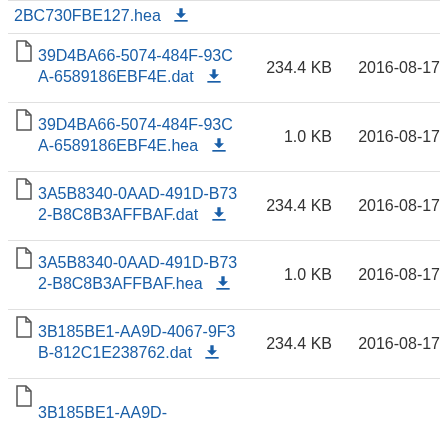2BC730FBE127.hea  [download]
39D4BA66-5074-484F-93CA-6589186EBF4E.dat  234.4 KB  2016-08-17
39D4BA66-5074-484F-93CA-6589186EBF4E.hea  1.0 KB  2016-08-17
3A5B8340-0AAD-491D-B732-B8C8B3AFFBAF.dat  234.4 KB  2016-08-17
3A5B8340-0AAD-491D-B732-B8C8B3AFFBAF.hea  1.0 KB  2016-08-17
3B185BE1-AA9D-4067-9F3B-812C1E238762.dat  234.4 KB  2016-08-17
3B185BE1-AA9D-